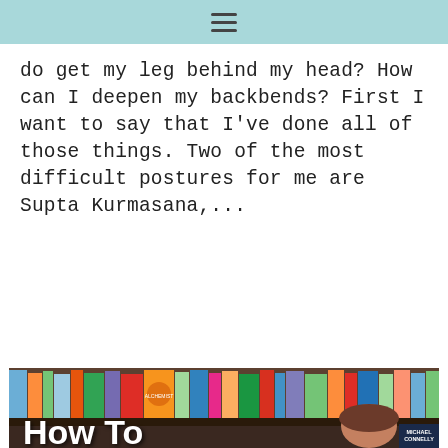≡
do get my leg behind my head? How can I deepen my backbends? First I want to say that I've done all of those things. Two of the most difficult postures for me are Supta Kurmasana,...
VIEW POST ▶
[Figure (photo): Photo of a woman in front of a bookshelf filled with colorful books. Text overlay reads 'How To' in white bold letters at the bottom left.]